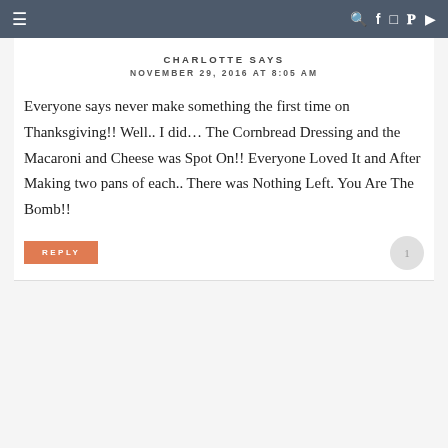≡  🔍 f 📷 𝗣 ▶
CHARLOTTE SAYS
NOVEMBER 29, 2016 AT 8:05 AM
Everyone says never make something the first time on Thanksgiving!! Well.. I did... The Cornbread Dressing and the Macaroni and Cheese was Spot On!! Everyone Loved It and After Making two pans of each.. There was Nothing Left. You Are The Bomb!!
REPLY